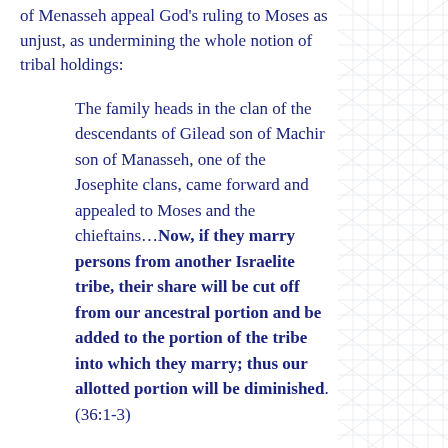of Menasseh appeal God's ruling to Moses as unjust, as undermining the whole notion of tribal holdings:
The family heads in the clan of the descendants of Gilead son of Machir son of Manasseh, one of the Josephite clans, came forward and appealed to Moses and the chieftains…Now, if they marry persons from another Israelite tribe, their share will be cut off from our ancestral portion and be added to the portion of the tribe into which they marry; thus our allotted portion will be diminished. (36:1-3)
In other words, a halakhic solution has